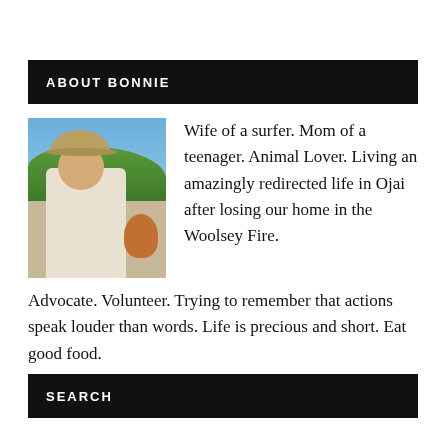ABOUT BONNIE
[Figure (photo): Woman wearing a hat and holding a chicken outdoors with greenery and blue sky in background]
Wife of a surfer. Mom of a teenager. Animal Lover. Living an amazingly redirected life in Ojai after losing our home in the Woolsey Fire. Advocate. Volunteer. Trying to remember that actions speak louder than words. Life is precious and short. Eat good food.
SEARCH